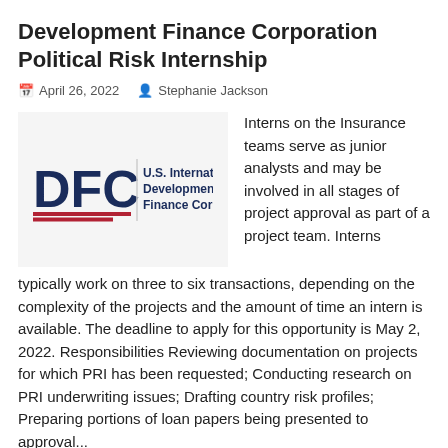Development Finance Corporation Political Risk Internship
📅 April 26, 2022   👤 Stephanie Jackson
[Figure (logo): DFC U.S. International Development Finance Corporation logo with red horizontal stripes]
Interns on the Insurance teams serve as junior analysts and may be involved in all stages of project approval as part of a project team. Interns typically work on three to six transactions, depending on the complexity of the projects and the amount of time an intern is available. The deadline to apply for this opportunity is May 2, 2022. Responsibilities Reviewing documentation on projects for which PRI has been requested; Conducting research on PRI underwriting issues; Drafting country risk profiles; Preparing portions of loan papers being presented to approval...